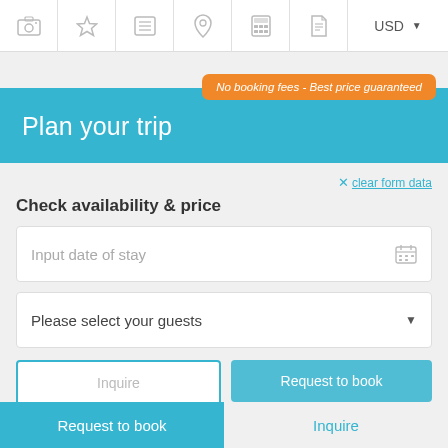Navigation bar with icons: camera, star, list, location, calculator, document, USD currency selector
[Figure (screenshot): Orange badge tooltip reading: No booking fees - Best price guaranteed]
Plan your trip
✕ clear form data
Check availability & price
Input date of stay
Please select your guests
Inquire
Request to book
Request to book | Inquire